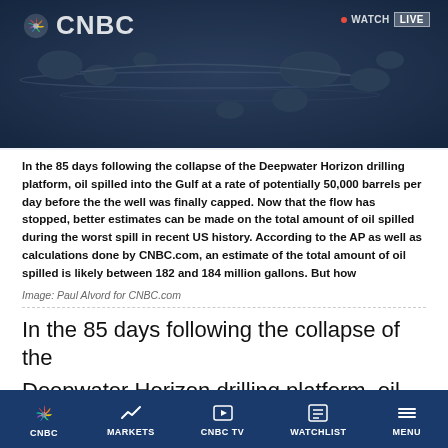[Figure (photo): CNBC news article screenshot showing dark blue-toned hero image of oil droplets on water surface with CNBC logo and Watch Live badge]
In the 85 days following the collapse of the Deepwater Horizon drilling platform, oil spilled into the Gulf at a rate of potentially 50,000 barrels per day before the the well was finally capped. Now that the flow has stopped, better estimates can be made on the total amount of oil spilled during the worst spill in recent US history. According to the AP as well as calculations done by CNBC.com, an estimate of the total amount of oil spilled is likely between 182 and 184 million gallons. But how
Image: Paul Alvord for CNBC.com
In the 85 days following the collapse of the Deepwater Horizon drilling platform, oil spilled
CNBC | MARKETS | CNBC TV | WATCHLIST | MENU